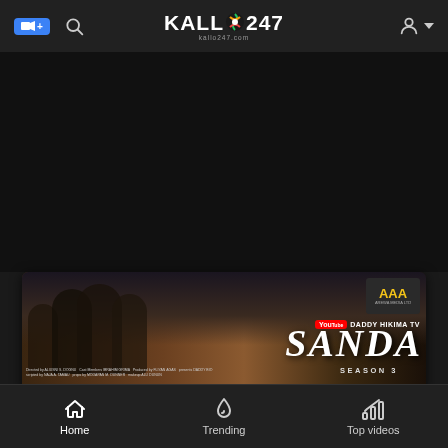KALLO247 navigation header with camera icon, search icon, and user account icon
[Figure (screenshot): Movie promotional thumbnail for 'Sanda Season 3' showing multiple cast members including a woman in green headwrap, with AAA logo, YouTube Daddy Hikima TV branding, and film credits]
Home  Trending  Top videos